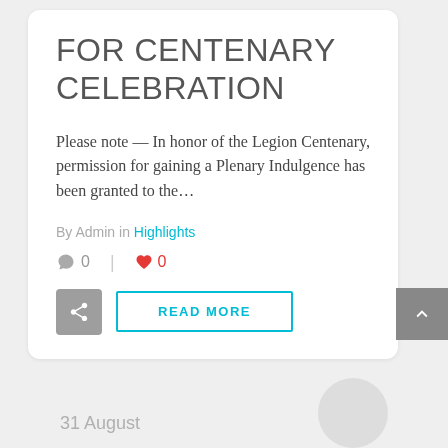FOR CENTENARY CELEBRATION
Please note — In honor of the Legion Centenary, permission for gaining a Plenary Indulgence has been granted to the…
By Admin in Highlights
0  0
READ MORE
31 August